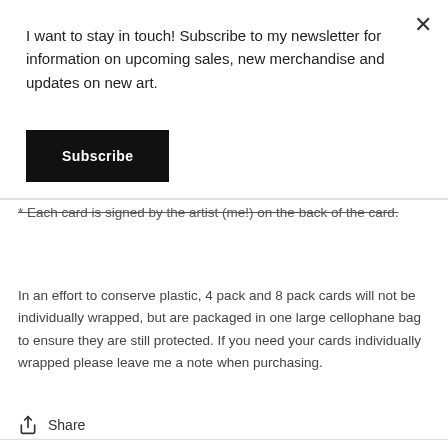I want to stay in touch! Subscribe to my newsletter for information on upcoming sales, new merchandise and updates on new art.
Subscribe
* Each card is signed by the artist (me!) on the back of the card.
In an effort to conserve plastic, 4 pack and 8 pack cards will not be individually wrapped, but are packaged in one large cellophane bag to ensure they are still protected. If you need your cards individually wrapped please leave me a note when purchasing.
Share